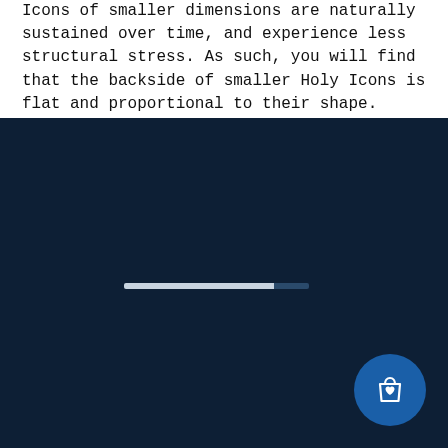Icons of smaller dimensions are naturally sustained over time, and experience less structural stress. As such, you will find that the backside of smaller Holy Icons is flat and proportional to their shape.
[Figure (screenshot): Dark navy blue loading screen with a horizontal progress bar (approximately 80% filled in light grey/blue, remainder in darker navy) centered in the lower-middle area, and a circular blue shopping bag with heart icon button in the bottom-right corner.]